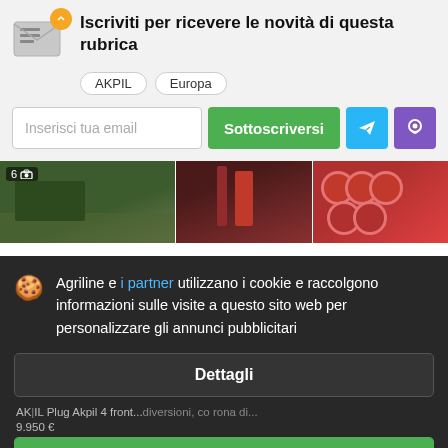Iscriviti per ricevere le novità di questa rubrica
AKPIL  Europa
Inserisci tua email
Sottoscriversi
[Figure (screenshot): Three partial images of agricultural equipment/machinery]
Agriline e i partner utilizzano i cookie e raccolgono informazioni sulle visite a questo sito web per personalizzare gli annunci pubblicitari
Dettagli
Accettare e chiudere
AK|IL Plug Akpil 4 front...diversioni, corona di...
9.950 €
Potenza del trattore richiesta: 130 HP